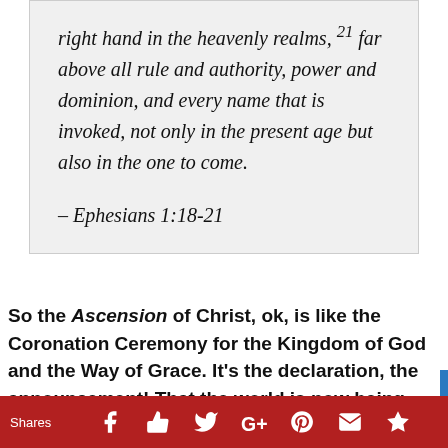right hand in the heavenly realms, 21 far above all rule and authority, power and dominion, and every name that is invoked, not only in the present age but also in the one to come.

– Ephesians 1:18-21
So the Ascension of Christ, ok, is like the Coronation Ceremony for the Kingdom of God and the Way of Grace. It's the declaration, the announcement! That the world is now being ruled under this different Way — the Way of grace rather than the Way of Nature.
Shares